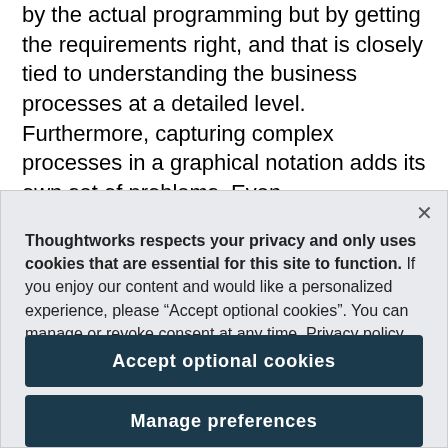by the actual programming but by getting the requirements right, and that is closely tied to understanding the business processes at a detailed level. Furthermore, capturing complex processes in a graphical notation adds its own set of problems. Even
Thoughtworks respects your privacy and only uses cookies that are essential for this site to function. If you enjoy our content and would like a personalized experience, please “Accept optional cookies”. You can manage or revoke consent at any time. Privacy policy
Accept optional cookies
Manage preferences